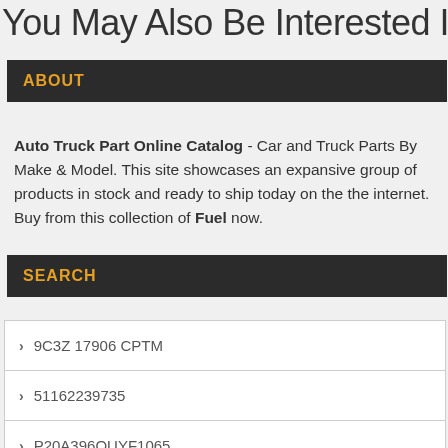You May Also Be Interested In
ABOUT
Auto Truck Part Online Catalog - Car and Truck Parts By Make & Model. This site showcases an expansive group of products in stock and ready to ship today on the the internet. Buy from this collection of Fuel now.
SEARCH
9C3Z 17906 CPTM
51162239735
P20A396QUYF1065
5120504010